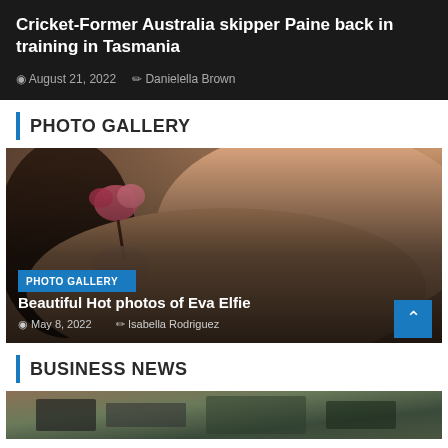Cricket-Former Australia skipper Paine back in training in Tasmania
August 21, 2022  Daniella Brown
PHOTO GALLERY
[Figure (photo): Photo gallery card showing Eva Elfie with a pink flower, with overlay showing badge 'PHOTO GALLERY', title 'Beautiful Hot photos of Eva Elfie', date May 8, 2022, author Isabella Rodriguez]
BUSINESS NEWS
[Figure (photo): Partial image of a business news article, cropped at bottom of page]